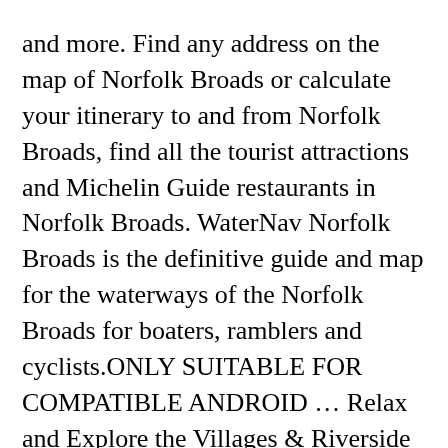and more. Find any address on the map of Norfolk Broads or calculate your itinerary to and from Norfolk Broads, find all the tourist attractions and Michelin Guide restaurants in Norfolk Broads. WaterNav Norfolk Broads is the definitive guide and map for the waterways of the Norfolk Broads for boaters, ramblers and cyclists.ONLY SUITABLE FOR COMPATIBLE ANDROID ... Relax and Explore the Villages & Riverside Inns. The developer, InnerShed Ltd, has not provided details about its privacy practices and handling of data to Apple. Distance Calculator . norfolk broads boating maps free download - Lake Tahoe Boating Maps, Norfolk Tourist Map Offline, Lake Champlain Boating Map, and many more programs Open the Mac App Store to buy and download apps. When inserted into a compatible Garmin device the GB Discoverer The